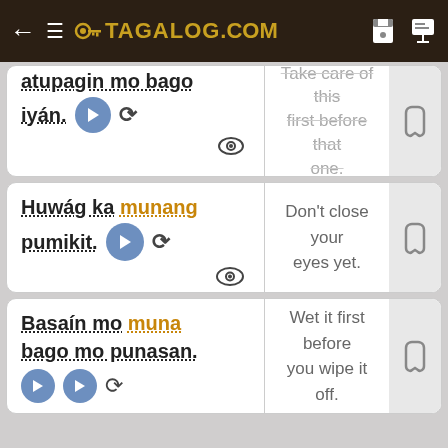TAGALOG.COM
atupagin mo bago iyán.
Take care of this first before that one.
Huwág ka munang pumikit.
Don't close your eyes yet.
Basaín mo muna bago mo punasan.
Wet it first before you wipe it off.